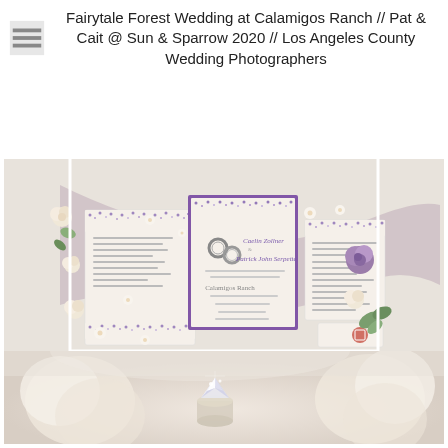Fairytale Forest Wedding at Calamigos Ranch // Pat & Cait @ Sun & Sparrow 2020 // Los Angeles County Wedding Photographers
[Figure (photo): Flat lay of wedding invitation suite with purple floral border cards, rings, cream and purple roses, greenery, and a lavender silk ribbon arranged in a heart shape on a white background.]
[Figure (photo): Close-up soft-focus photo of wedding rings and cream flowers, with a diamond ring prominently displayed among blossoms.]